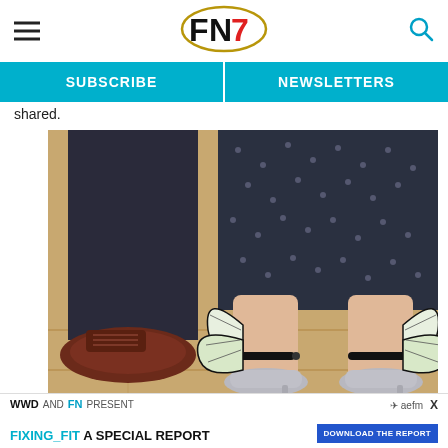FN7 [Footwear News logo with hamburger menu and search icon]
SUBSCRIBE | NEWSLETTERS
shared.
[Figure (photo): Close-up photo of feet wearing Sophia Webster butterfly heeled sandals with silver upper, orange sole, and large butterfly wing decorations on the heel. Next to a person wearing dark trousers and brown oxford shoes on a wooden floor.]
Detail of Sophia Webster's butterfly shoes
WWD AND FN PRESENT | aefm X | FIXING_FIT A SPECIAL REPORT | DOWNLOAD THE REPORT